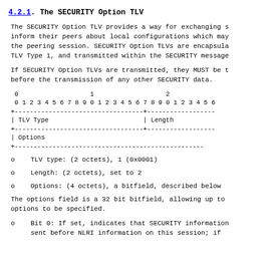4.2.1. The SECURITY Option TLV
The SECURITY Option TLV provides a way for exchanging s inform their peers about local configurations which may the peering session. SECURITY Option TLVs are encapsula TLV Type 1, and transmitted within the SECURITY message
If SECURITY Option TLVs are transmitted, they MUST be t before the transmission of any other SECURITY data.
[Figure (schematic): Bit field diagram showing TLV packet format with TLV Type, Length, and Options fields across bit positions 0-31]
TLV type: (2 octets), 1 (0x0001)
Length: (2 octets), set to 2
Options: (4 octets), a bitfield, described below
The options field is a 32 bit bitfield, allowing up to options to be specified.
Bit 0: If set, indicates that SECURITY information sent before NLRI information on this session; if